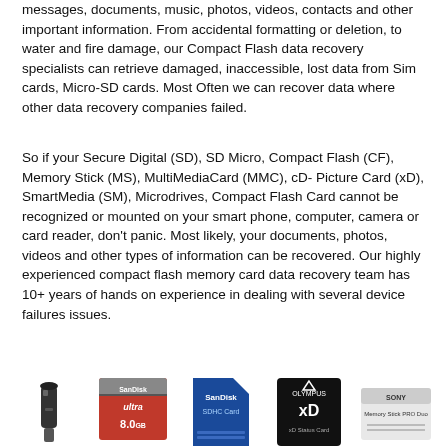messages, documents, music, photos, videos, contacts and other important information. From accidental formatting or deletion, to water and fire damage, our Compact Flash data recovery specialists can retrieve damaged, inaccessible, lost data from Sim cards, Micro-SD cards. Most Often we can recover data where other data recovery companies failed.
So if your Secure Digital (SD), SD Micro, Compact Flash (CF), Memory Stick (MS), MultiMediaCard (MMC), cD- Picture Card (xD), SmartMedia (SM), Microdrives, Compact Flash Card cannot be recognized or mounted on your smart phone, computer, camera or card reader, don't panic. Most likely, your documents, photos, videos and other types of information can be recovered. Our highly experienced compact flash memory card data recovery team has 10+ years of hands on experience in dealing with several device failures issues.
If we can't recover your data, there's no charge, period!
[Figure (photo): Row of memory card product photos: USB flash drive (black), SanDisk Ultra 8GB CF card (orange/red), SanDisk SDHC card (blue), Olympus xD card (black), Sony Memory Stick PRO Duo (white)]